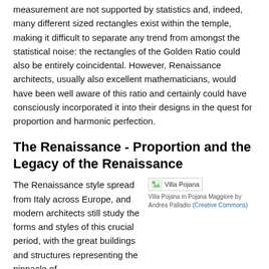measurement are not supported by statistics and, indeed, many different sized rectangles exist within the temple, making it difficult to separate any trend from amongst the statistical noise: the rectangles of the Golden Ratio could also be entirely coincidental. However, Renaissance architects, usually also excellent mathematicians, would have been well aware of this ratio and certainly could have consciously incorporated it into their designs in the quest for proportion and harmonic perfection.
The Renaissance - Proportion and the Legacy of the Renaissance
The Renaissance style spread from Italy across Europe, and modern architects still study the forms and styles of this crucial period, with the great buildings and structures representing the pinnacle of
[Figure (photo): Villa Pojana image placeholder with caption: Villa Pojana in Pojana Maggiore by Andrea Palladio (Creative Commons)]
Villa Pojana in Pojana Maggiore by Andrea Palladio (Creative Commons)